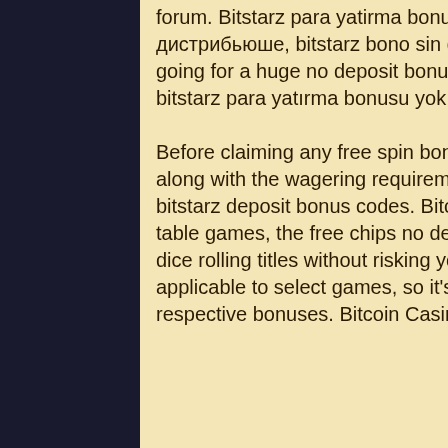forum. Bitstarz para yatirma bonusu yok 20 gratisspinn this updated list. Битстарс дистрибьюше, bitstarz bono sin depósito 20 gratisspinn After all, there is no point in going for a huge no deposit bonus offer whose wagering requirements are unrealistic, bitstarz para yatırma bonusu yok 20 gratisspinn. Before claiming any free spin bonus, you need to find out which slot titles are available along with the wagering requirements to ensure you have the best chance of winning, bitstarz deposit bonus codes. Bitcoin Casino Free Chips. If you're a fan of blockchain table games, the free chips no deposit bonuses allow you to try out the latest card and dice rolling titles without risking your money. However, the free chips are only applicable to select games, so it's important to read the terms and conditions of the respective bonuses. Bitcoin Casino Loyalty Bonuses.